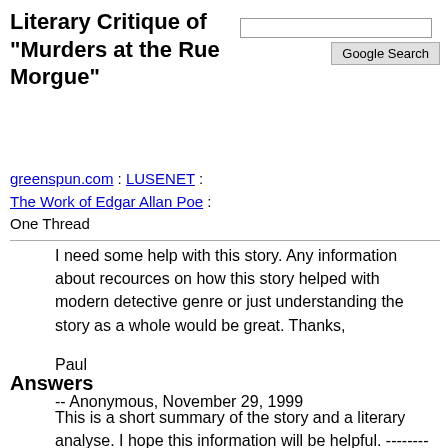Literary Critique of "Murders at the Rue Morgue"
greenspun.com : LUSENET : The Work of Edgar Allan Poe : One Thread
I need some help with this story. Any information about recources on how this story helped with modern detective genre or just understanding the story as a whole would be great. Thanks,

Paul

-- Anonymous, November 29, 1999
Answers
This is a short summary of the story and a literary analyse. I hope this information will be helpful. ------------------------- "Genre:Short Story.